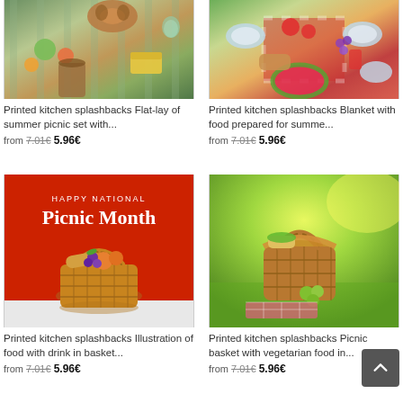[Figure (photo): Top-down view of summer picnic flat-lay with food on striped cloth]
Printed kitchen splashbacks Flat-lay of summer picnic set with...
from 7.01€ 5.96€
[Figure (photo): Top-down view of blanket with food prepared for summer picnic]
Printed kitchen splashbacks Blanket with food prepared for summe...
from 7.01€ 5.96€
[Figure (illustration): Happy National Picnic Month illustration with picnic basket on red background]
Printed kitchen splashbacks Illustration of food with drink in basket...
from 7.01€ 5.96€
[Figure (photo): Picnic basket with vegetarian food on green grass]
Printed kitchen splashbacks Picnic basket with vegetarian food in...
from 7.01€ 5.96€